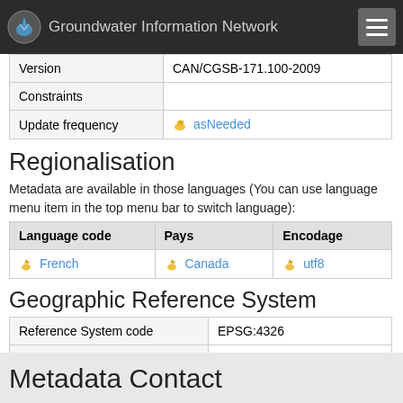Groundwater Information Network
| Version | CAN/CGSB-171.100-2009 |
| Constraints |  |
| Update frequency | asNeeded |
Regionalisation
Metadata are available in those languages (You can use language menu item in the top menu bar to switch language):
| Language code | Pays | Encodage |
| --- | --- | --- |
| French | Canada | utf8 |
Geographic Reference System
| Reference System code | EPSG:4326 |
| Register | http://www.epsg-registry.org/ |
| Version | 6.14 |
Metadata Contact